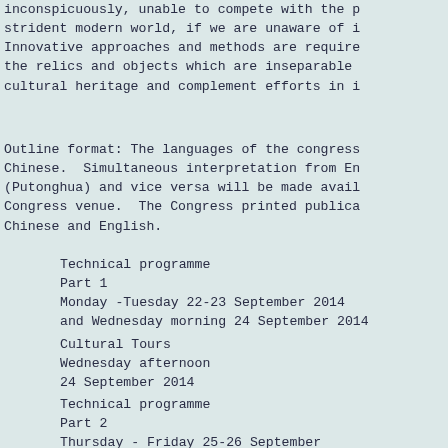inconspicuously, unable to compete with the p strident modern world, if we are unaware of i Innovative approaches and methods are require the relics and objects which are inseparable cultural heritage and complement efforts in i
Outline format: The languages of the congress Chinese.  Simultaneous interpretation from En (Putonghua) and vice versa will be made avail Congress venue.  The Congress printed publica Chinese and English.
Technical programme
Part 1
Monday -Tuesday 22-23 September 2014
and Wednesday morning 24 September 2014
Cultural Tours
Wednesday afternoon
24 September 2014
Technical programme
Part 2
Thursday - Friday 25-26 September